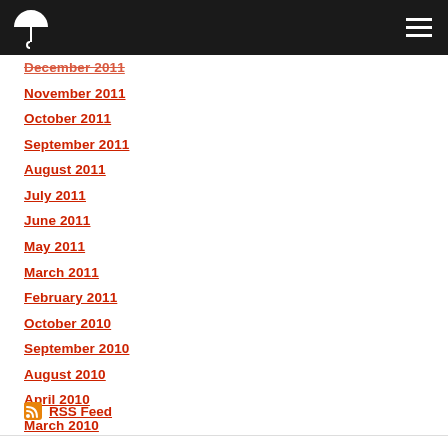November 2011 / October 2011 (header bar with logo and hamburger menu)
December 2011
November 2011
October 2011
September 2011
August 2011
July 2011
June 2011
May 2011
March 2011
February 2011
October 2010
September 2010
August 2010
April 2010
March 2010
February 2010
RSS Feed